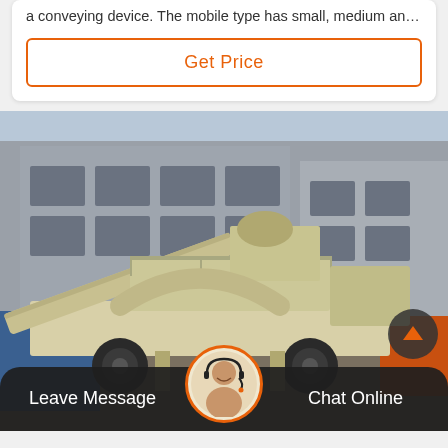a conveying device. The mobile type has small, medium an…
Get Price
[Figure (photo): Large mobile crushing and screening equipment/plant parked in front of an industrial building. The machine is cream/beige colored with heavy machinery components including a conveyor belt, crusher unit, and rubber tires.]
Leave Message
Chat Online